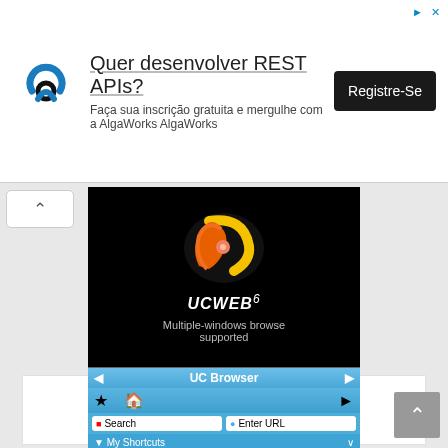[Figure (screenshot): Advertisement banner: AlgaWorks REST APIs course ad with logo, text, and Registre-Se button]
[Figure (screenshot): UCWEB6 splash screen with orange/yellow logo on black background, text 'Multiple-windows browse supported', and menu bar showing 20:05]
UCWEB
11 Aug 10
[Figure (screenshot): UC Browser interface showing UC Browser header, star and home icons, Search and Enter URL buttons, and My Shortcuts dropdown]